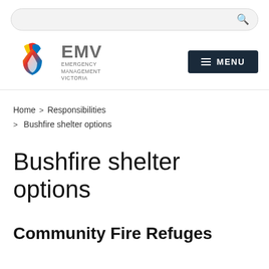Search bar
[Figure (logo): EMV Emergency Management Victoria logo with coloured flame/water drop graphic and EMV text]
MENU
Home > Responsibilities > Bushfire shelter options
Bushfire shelter options
Community Fire Refuges